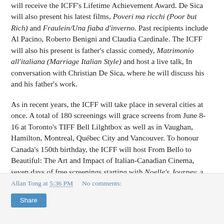will receive the ICFF's Lifetime Achievement Award. De Sica will also present his latest films, Poveri ma ricchi (Poor but Rich) and Fraulein/Una fiaba d'inverno. Past recipients include Al Pacino, Roberto Benigni and Claudia Cardinale. The ICFF will also his present is father's classic comedy, Matrimonio all'italiana (Marriage Italian Style) and host a live talk, In conversation with Christian De Sica, where he will discuss his and his father's work.
As in recent years, the ICFF will take place in several cities at once. A total of 180 screenings will grace screens from June 8-16 at Toronto's TIFF Bell Lilghtbox as well as in Vaughan, Hamilton, Montreal, Québec City and Vancouver. To honour Canada's 150th birthday, the ICFF will host From Bello to Beautiful: The Art and Impact of Italian-Canadian Cinema, seven days of free screenings starting with Noelle's Journey, a documentary by Peter Gentile about two immigrants who left southern Italy for a new life in Canada.
Allan Tong at 5:36 PM   No comments:   Share